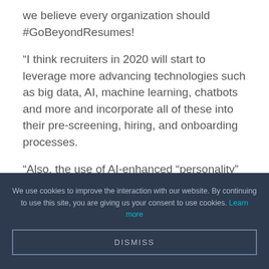we believe every organization should #GoBeyondResumes!
“I think recruiters in 2020 will start to leverage more advancing technologies such as big data, AI, machine learning, chatbots and more and incorporate all of these into their pre-screening, hiring, and onboarding processes.
“Also, the use of AI-enhanced “personality” tests will become more standard as they help determine how the candidate will fit in with
We use cookies to improve the interaction with our website. By continuing to use this site, you are giving us your consent to use cookies. Learn more
DISMISS